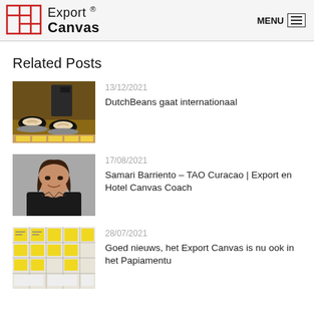Export ® Canvas | MENU
Related Posts
[Figure (photo): Two coffee cups with latte art on a wooden surface with paper bags in background]
13/12/2021
DutchBeans gaat internationaal
[Figure (photo): Portrait of a woman smiling, wearing a black sleeveless top]
17/08/2021
Samari Barriento – TAO Curacao | Export en Hotel Canvas Coach
[Figure (photo): Export Canvas template filled with yellow sticky notes on a grid layout]
28/07/2021
Goed nieuws, het Export Canvas is nu ook in het Papiamentu